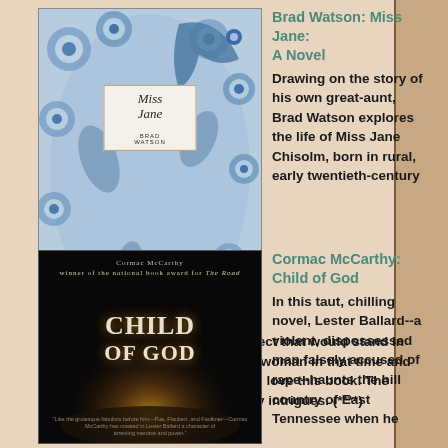[Figure (photo): Book cover of 'Miss Jane' by Brad Watson — blue and white peacock/floral pattern design with a central label showing title and author]
Brad Watson: Miss Jane: A Novel
Drawing on the story of his own great-aunt, Brad Watson explores the life of Miss Jane Chisolm, born in rural, early twentieth-century Mississippi with a genital birth defect that would stand in the way of the central “uses” for a woman in that time and place – namely, sex and marriage. I love this book. The prose is mesmerizing and the story intrigues. (****)
[Figure (photo): Book cover of 'Child of God' by Cormac McCarthy — dark/black cover with golden glowing light at the bottom, author name and title in large text]
Cormac McCarthy: Child of God
In this taut, chilling novel, Lester Ballard--a violent, dispossessed man falsely accused of rape--haunts the hill country of East Tennessee when he